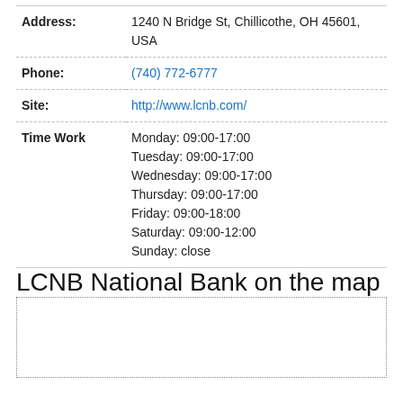| Field | Value |
| --- | --- |
| Address: | 1240 N Bridge St, Chillicothe, OH 45601, USA |
| Phone: | (740) 772-6777 |
| Site: | http://www.lcnb.com/ |
| Time Work | Monday: 09:00-17:00
Tuesday: 09:00-17:00
Wednesday: 09:00-17:00
Thursday: 09:00-17:00
Friday: 09:00-18:00
Saturday: 09:00-12:00
Sunday: close |
LCNB National Bank on the map
[Figure (map): Empty map placeholder with dotted border]